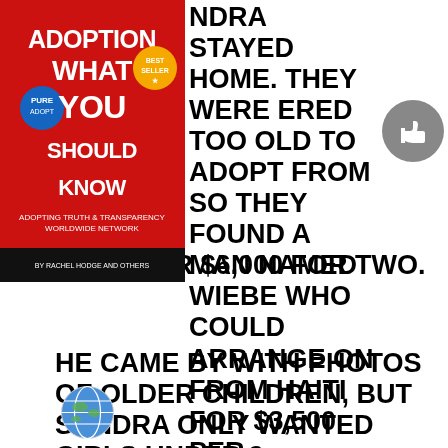[Figure (illustration): Red book cover titled 'Adoption What You Should Know' with award badge icons, shown in top-left corner]
NDRA STAYED HOME. THEY WERE ERED TOO OLD TO ADOPT FROM SO THEY FOUND A MAN NAMED WIEBE WHO COULD ARRANGE ON FROM HAITI FOR $3,500 PER CHILD, OR $6,000 FOR TWO.
HE CAME BY WITH PHOTOS OF OLDER CHILDREN, BUT SANDRA ONLY WANTED GIRLS UNDER 2.
HE CALLED THE NEXT DAY. HE HAD FOUND THEM. SHE WAS GOING TO CALL THEM CHRISTA GAIL AND JENNIFER LYNNE, BUT THEY ALREADY HAD NAMES: MARIETTE AND PATRICIA.
[Figure (illustration): Globe / world icon in blue and white at bottom left]